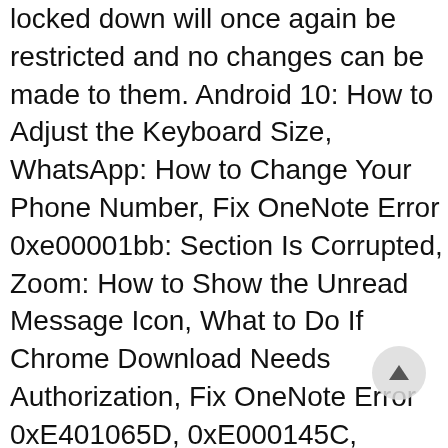locked down will once again be restricted and no changes can be made to them. Android 10: How to Adjust the Keyboard Size, WhatsApp: How to Change Your Phone Number, Fix OneNote Error 0xe00001bb: Section Is Corrupted, Zoom: How to Show the Unread Message Icon, What to Do If Chrome Download Needs Authorization, Fix OneNote Error 0xE401065D, 0xE000145C, 0xE4010640. Summary: Since macOS High Sierra (macOS 10.13), the system partition is not allowed to be accessed by any other third-party software, those who want to use Bitwar Data Recovery for Mac to scan the system partition should at first disable the SIP. This boots you into Recovery. System Integrity Protection is designed to allow modification of these protected parts only by processes that are signed by Apple and have